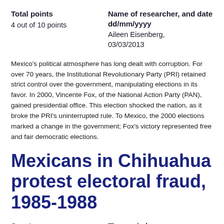Total points
4 out of 10 points
Name of researcher, and date dd/mm/yyyy
Aileen Eisenberg, 03/03/2013
Mexico's political atmosphere has long dealt with corruption. For over 70 years, the Institutional Revolutionary Party (PRI) retained strict control over the government, manipulating elections in its favor. In 2000, Vincente Fox, of the National Action Party (PAN), gained presidential office. This election shocked the nation, as it broke the PRI's uninterrupted rule. To Mexico, the 2000 elections marked a change in the government; Fox's victory represented free and fair democratic elections.
Mexicans in Chihuahua protest electoral fraud, 1985-1988
Country
Mexico
Time period
July, 1985 to August, 1988